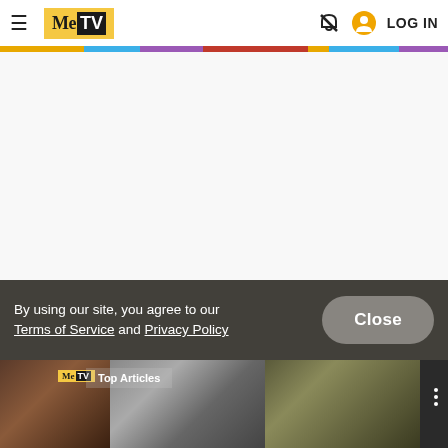MeTV | LOG IN
By using our site, you agree to our Terms of Service and Privacy Policy
[Figure (screenshot): Bottom strip showing MeTV logo, Top Articles label, and faces of people in dark background]